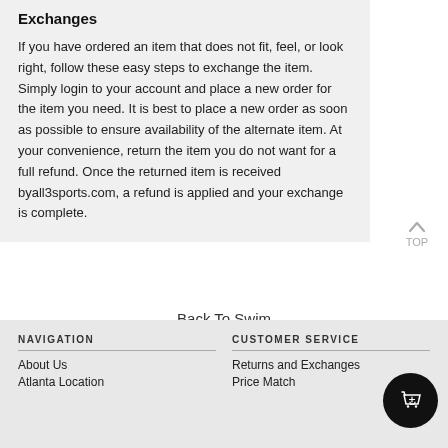Exchanges
If you have ordered an item that does not fit, feel, or look right, follow these easy steps to exchange the item. Simply login to your account and place a new order for the item you need. It is best to place a new order as soon as possible to ensure availability of the alternate item. At your convenience, return the item you do not want for a full refund. Once the returned item is received byall3sports.com, a refund is applied and your exchange is complete.
Back To Swim
NAVIGATION | CUSTOMER SERVICE | About Us | Atlanta Location | Returns and Exchanges | Price Match